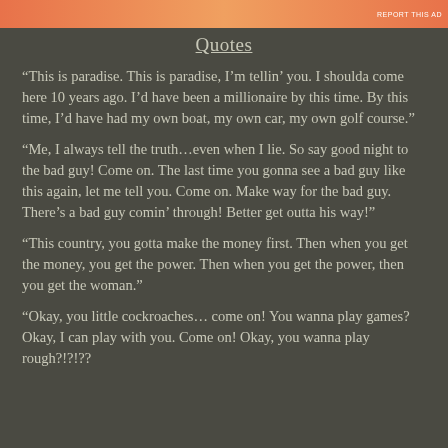REPORT THIS AD
Quotes
“This is paradise. This is paradise, I’m tellin’ you. I shoulda come here 10 years ago. I’d have been a millionaire by this time. By this time, I’d have had my own boat, my own car, my own golf course.”
“Me, I always tell the truth…even when I lie. So say good night to the bad guy! Come on. The last time you gonna see a bad guy like this again, let me tell you. Come on. Make way for the bad guy. There’s a bad guy comin’ through! Better get outta his way!”
“This country, you gotta make the money first. Then when you get the money, you get the power. Then when you get the power, then you get the woman.”
“Okay, you little cockroaches… come on! You wanna play games? Okay, I can play with you. Come on! Okay, you wanna play rough?!?!??